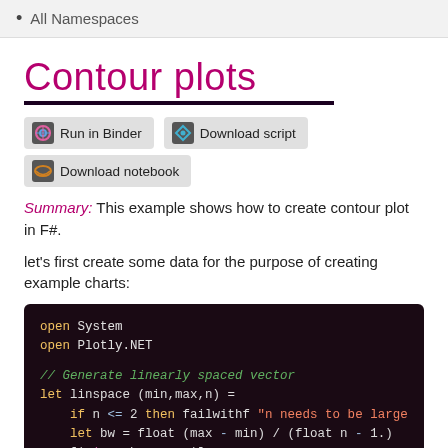• All Namespaces
Contour plots
[Figure (other): Run in Binder button, Download script button, Download notebook button]
Summary: This example shows how to create contour plot in F#.
let's first create some data for the purpose of creating example charts:
open System
open Plotly.NET

// Generate linearly spaced vector
let linspace (min,max,n) =
    if n <= 2 then failwithf "n needs to be large
    let bw = float (max - min) / (float n - 1.)
    [|min ..bw ..max|]